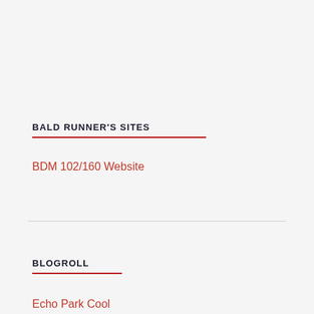BALD RUNNER'S SITES
BDM 102/160 Website
BLOGROLL
Echo Park Cool